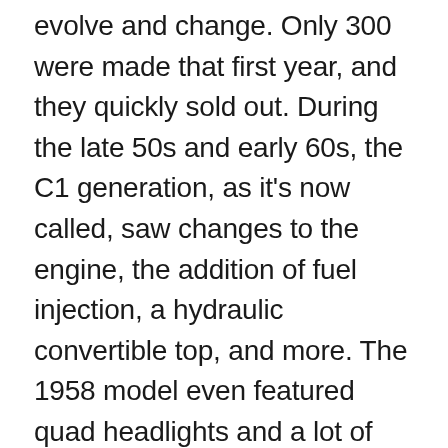evolve and change. Only 300 were made that first year, and they quickly sold out. During the late 50s and early 60s, the C1 generation, as it's now called, saw changes to the engine, the addition of fuel injection, a hydraulic convertible top, and more. The 1958 model even featured quad headlights and a lot of chrome, making it visually very striking.
In 1963, the Sting Ray made its debut. This was the first corvette coupe, and it marks the beginning of the C2 series. Some of the nonfunctional decorative items such as hood vents were removed during the 60s. Meanwhile, the engine